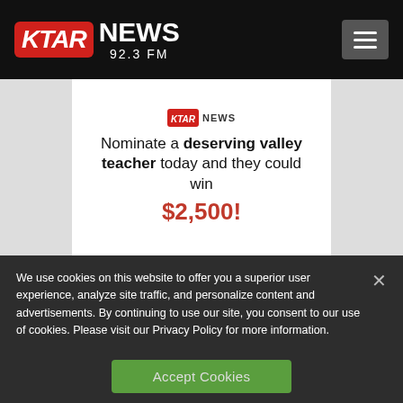KTAR NEWS 92.3 FM
[Figure (advertisement): KTAR News ad: Nominate a deserving valley teacher today and they could win $2,500!]
We use cookies on this website to offer you a superior user experience, analyze site traffic, and personalize content and advertisements. By continuing to use our site, you consent to our use of cookies. Please visit our Privacy Policy for more information.
Accept Cookies